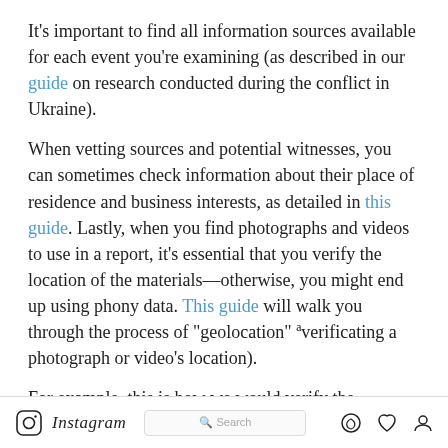It's important to find all information sources available for each event you're examining (as described in our guide on research conducted during the conflict in Ukraine).
When vetting sources and potential witnesses, you can sometimes check information about their place of residence and business interests, as detailed in this guide. Lastly, when you find photographs and videos to use in a report, it's essential that you verify the location of the materials—otherwise, you might end up using phony data. This guide will walk you through the process of "geolocation" ᵃverificating a photograph or video's location).
For example, this is how we would verify the photograph below, shared by "koctac," posted during the 2015 Siberian wildfires:
[Figure (screenshot): Instagram navigation bar with logo, search box, and icons]